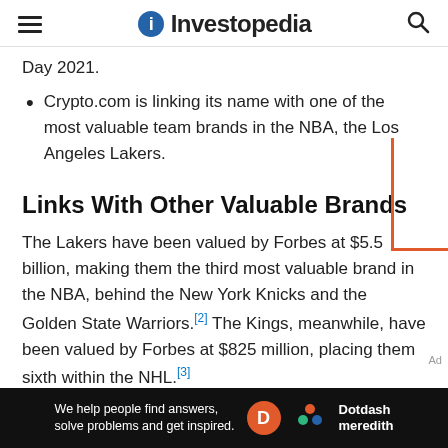Investopedia
Day 2021.
Crypto.com is linking its name with one of the most valuable team brands in the NBA, the Los Angeles Lakers.
Links With Other Valuable Brands
The Lakers have been valued by Forbes at $5.5 billion, making them the third most valuable brand in the NBA, behind the New York Knicks and the Golden State Warriors.[2] The Kings, meanwhile, have been valued by Forbes at $825 million, placing them sixth within the NHL.[3]
[Figure (other): Dotdash Meredith promotional banner: We help people find answers, solve problems and get inspired.]